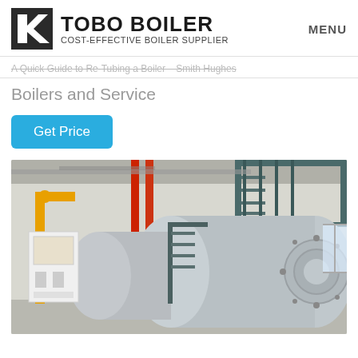TOBO BOILER COST-EFFECTIVE BOILER SUPPLIER | MENU
A Quick Guide to Re-Tubing a Boiler – Smith Hughes Boilers and Service
Get Price
[Figure (photo): Industrial boiler installation showing large horizontal cylindrical boiler tanks with yellow and red pipes, metal staircases, and a white control panel unit in an indoor facility.]